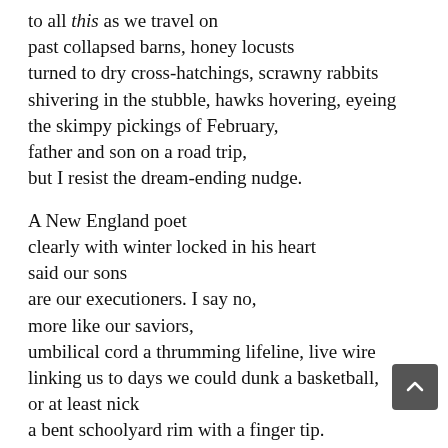to all this as we travel on
past collapsed barns, honey locusts
turned to dry cross-hatchings, scrawny rabbits
shivering in the stubble, hawks hovering, eyeing
the skimpy pickings of February,
father and son on a road trip,
but I resist the dream-ending nudge.

A New England poet
clearly with winter locked in his heart
said our sons
are our executioners. I say no,
more like our saviors,
umbilical cord a thrumming lifeline, live wire
linking us to days we could dunk a basketball,
or at least nick
a bent schoolyard rim with a finger tip.
No wonder I hesitated to snip him loose into free
fall.